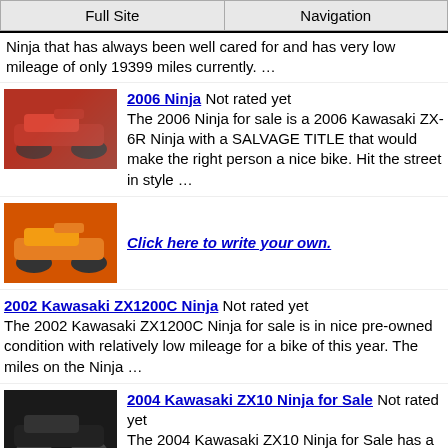Full Site | Navigation
Ninja that has always been well cared for and has very low mileage of only 19399 miles currently. …
2006 Ninja Not rated yet
The 2006 Ninja for sale is a 2006 Kawasaki ZX-6R Ninja with a SALVAGE TITLE that would make the right person a nice bike. Hit the street in style …
Click here to write your own.
2002 Kawasaki ZX1200C Ninja Not rated yet
The 2002 Kawasaki ZX1200C Ninja for sale is in nice pre-owned condition with relatively low mileage for a bike of this year. The miles on the Ninja …
2004 Kawasaki ZX10 Ninja for Sale Not rated yet
The 2004 Kawasaki ZX10 Ninja for Sale has a great sounding Two brothers slip on exhaust and the bike's tires have about 3/4 of the tread left so still …
1999 Kawasaki Ninja Not rated yet